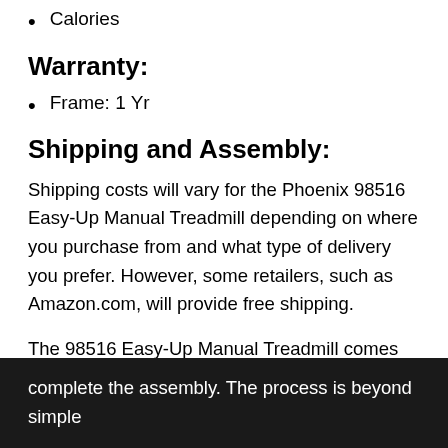Calories
Warranty:
Frame: 1 Yr
Shipping and Assembly:
Shipping costs will vary for the Phoenix 98516 Easy-Up Manual Treadmill depending on where you purchase from and what type of delivery you prefer. However, some retailers, such as Amazon.com, will provide free shipping.
The 98516 Easy-Up Manual Treadmill comes practically assembled right out of the box. There is an enclosed instructions guide and a couple of basic tools to complete the assembly. The process is beyond simple